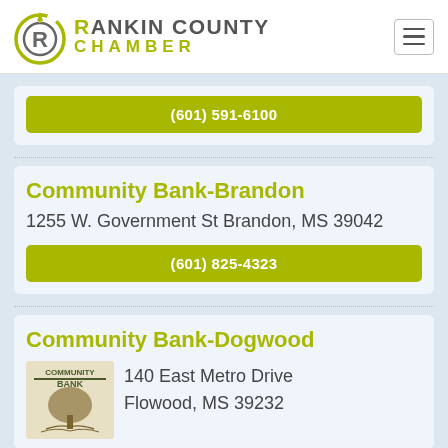Rankin County Chamber
(601) 591-6100
Community Bank-Brandon
1255 W. Government St Brandon, MS 39042
(601) 825-4323
Community Bank-Dogwood
[Figure (logo): Community Bank logo with tree illustration]
140 East Metro Drive Flowood, MS 39232